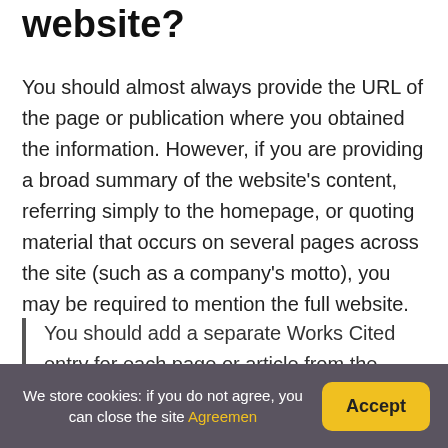website?
You should almost always provide the URL of the page or publication where you obtained the information. However, if you are providing a broad summary of the website’s content, referring simply to the homepage, or quoting material that occurs on several pages across the site (such as a company’s motto), you may be required to mention the full website.
You should add a separate Works Cited entry for each page or article from the same website
We store cookies: if you do not agree, you can close the site Agreemen